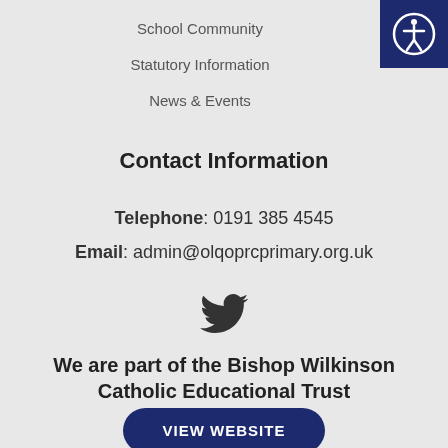School Community
Statutory Information
News & Events
Contact Information
Telephone: 0191 385 4545
Email: admin@olqoprcprimary.org.uk
[Figure (illustration): Twitter bird icon]
We are part of the Bishop Wilkinson Catholic Educational Trust
VIEW WEBSITE